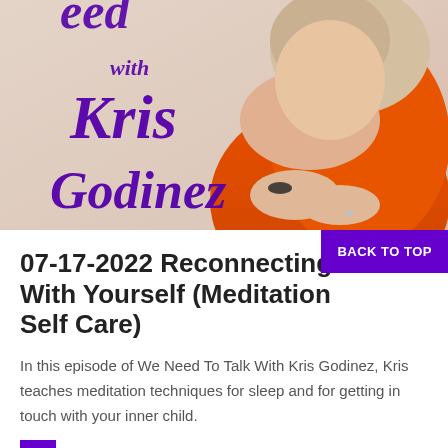[Figure (photo): Podcast cover image showing a woman with blonde hair wearing an orange blazer, with purple script text reading 'with Kris Godinez' overlaid on the image]
07-17-2022 Reconnecting With Yourself (Meditation Self Care)
BACK TO TOP
In this episode of We Need To Talk With Kris Godinez, Kris teaches meditation techniques for sleep and for getting in touch with your inner child.